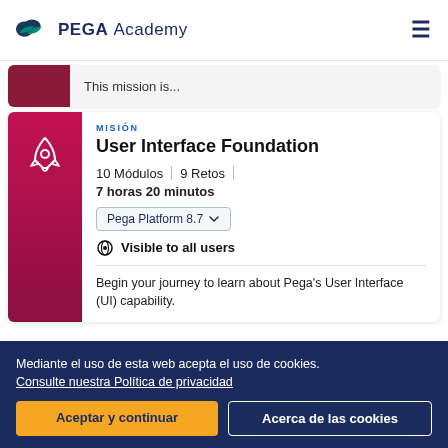PEGA Academy
This mission is...
MISIÓN
User Interface Foundation
10 Módulos | 9 Retos | 7 horas 20 minutos
Pega Platform 8.7
Visible to all users
Begin your journey to learn about Pega's User Interface (UI) capability.
Mediante el uso de esta web acepta el uso de cookies. Consulte nuestra Política de privacidad
Aceptar y continuar
Acerca de las cookies